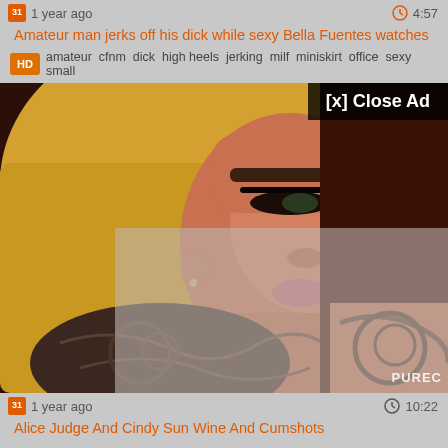1 year ago   4:57
Amateur man jerks off his dick while sexy Bella Fuentes watches
amateur cfnm dick high heels jerking milf miniskirt office sexy small
[Figure (photo): Close-up photo of a blonde woman with tattoos, with a semi-transparent ad overlay showing '[x] Close Ad' button and PUREC watermark]
1 year ago   10:22
Alice Judge And Cindy Sun Wine And Cumshots